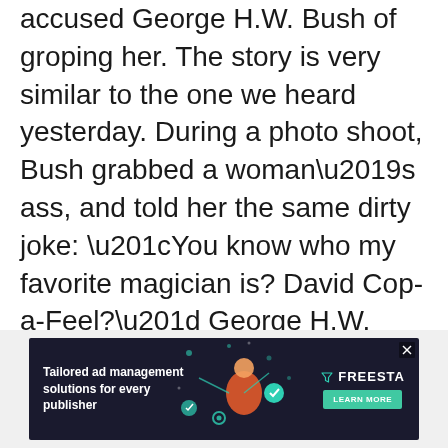accused George H.W. Bush of groping her. The story is very similar to the one we heard yesterday. During a photo shoot, Bush grabbed a woman’s ass, and told her the same dirty joke: “You know who my favorite magician is? David Cop-a-Feel?” George H.W. Bush, through a statement, has offered another apology.
[Figure (other): Advertisement banner for Freestar tailored ad management solutions for every publisher]